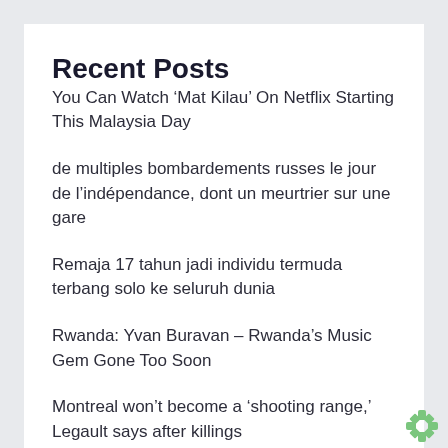Recent Posts
You Can Watch ‘Mat Kilau’ On Netflix Starting This Malaysia Day
de multiples bombardements russes le jour de l’indépendance, dont un meurtrier sur une gare
Remaja 17 tahun jadi individu termuda terbang solo ke seluruh dunia
Rwanda: Yvan Buravan – Rwanda’s Music Gem Gone Too Soon
Montreal won’t become a ‘shooting range,’ Legault says after killings